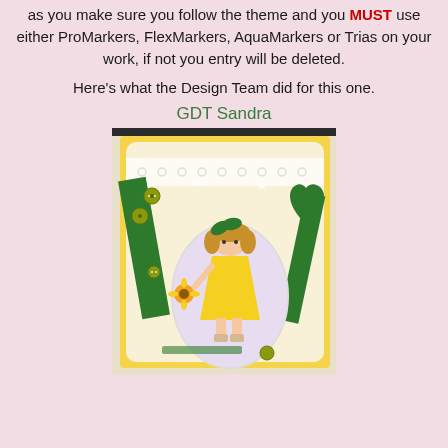How you interpret this is completely up to you, as long as you make sure you follow the theme and you MUST use either ProMarkers, FlexMarkers, AquaMarkers or Trias on your work, if not you entry will be deleted.
Here's what the Design Team did for this one.
GDT Sandra
[Figure (photo): A handmade craft card featuring a girl in a yellow dress holding a sunflower, surrounded by green and yellow decorative elements, buttons, and lace trim on a yellow scalloped background.]